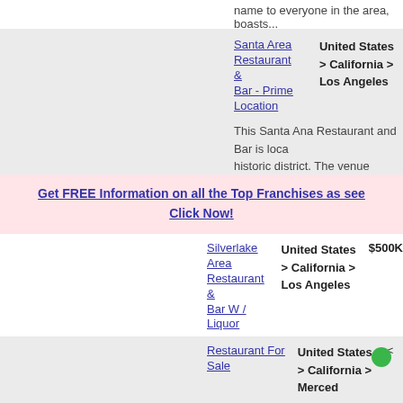name to everyone in the area, boasts...
Santa Area Restaurant & Bar - Prime Location
United States > California > Los Angeles
This Santa Ana Restaurant and Bar is located in the historic district. The venue boasts a versatile liquor, sidewalk seating, convenient access i...
Get FREE Information on all the Top Franchises as seen Click Now!
Silverlake Area Restaurant & Bar W / Liquor
United States > California > Los Angeles
$500K
This Silverlake area restaurant and bar with street visibility boasts what may arguably b in the area. The restaurant has 2 separate into an adjacent 12...
Restaurant For Sale
United States > California > Merced
This is a fun restaurant and entertainment everyday. Mechanical bull and country mus keeps them coming back. It just needs an hometown hospitality. This is ...